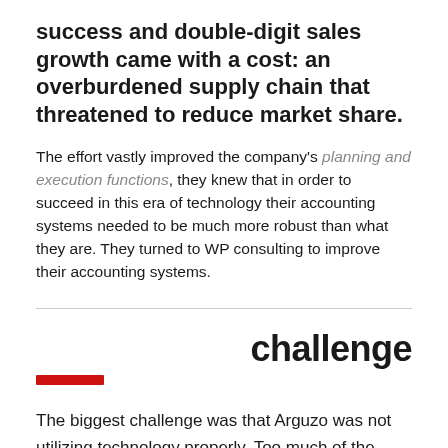success and double-digit sales growth came with a cost: an overburdened supply chain that threatened to reduce market share.
The effort vastly improved the company's planning and execution functions, they knew that in order to succeed in this era of technology their accounting systems needed to be much more robust than what they are. They turned to WP consulting to improve their accounting systems.
challenge
The biggest challenge was that Arguzo was not utilizing technology properly. Too much of the work was still being recorded manually, which meant that the numbers took a long